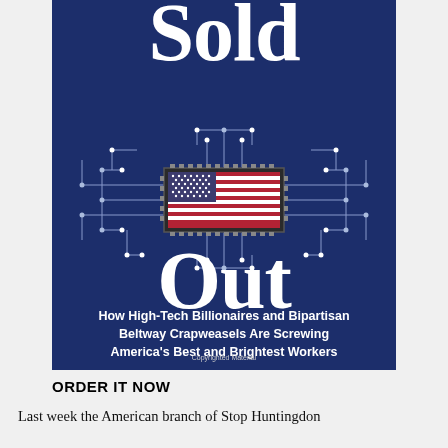[Figure (illustration): Book cover for 'Sold Out: How High-Tech Billionaires and Bipartisan Beltway Crapweasels Are Screwing America's Best and Brightest Workers'. Dark navy blue background with large white serif text reading 'Sold' at top and 'Out' below, a circuit board graphic with an American flag microchip in the center, and subtitle text in white below. 'Copyrighted Material' watermark at bottom.]
ORDER IT NOW
Last week the American branch of Stop Huntingdon